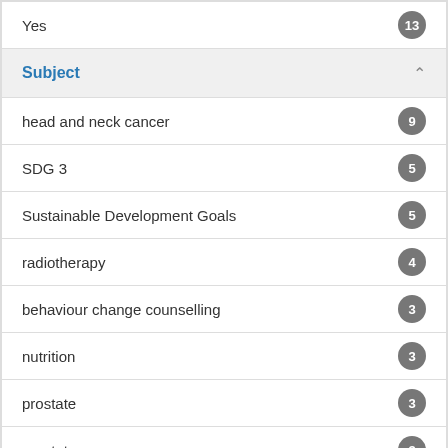Yes
Subject
head and neck cancer
SDG 3
Sustainable Development Goals
radiotherapy
behaviour change counselling
nutrition
prostate
prostate cancer
radiation therapy